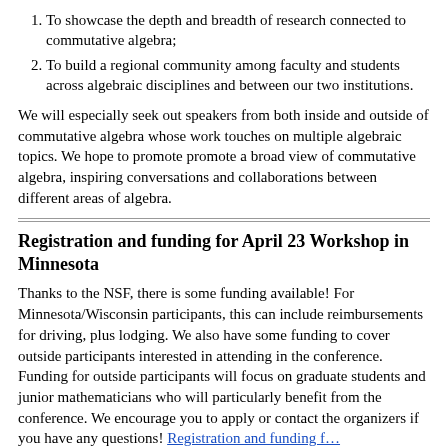1. To showcase the depth and breadth of research connected to commutative algebra;
2. To build a regional community among faculty and students across algebraic disciplines and between our two institutions.
We will especially seek out speakers from both inside and outside of commutative algebra whose work touches on multiple algebraic topics. We hope to promote promote a broad view of commutative algebra, inspiring conversations and collaborations between different areas of algebra.
Registration and funding for April 23 Workshop in Minnesota
Thanks to the NSF, there is some funding available! For Minnesota/Wisconsin participants, this can include reimbursements for driving, plus lodging. We also have some funding to cover outside participants interested in attending in the conference. Funding for outside participants will focus on graduate students and junior mathematicians who will particularly benefit from the conference. We encourage you to apply or contact the organizers if you have any questions! Registration and funding f…